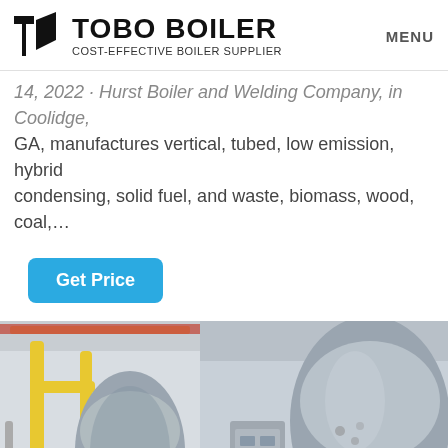TOBO BOILER COST-EFFECTIVE BOILER SUPPLIER | MENU
14, 2022 · Hurst Boiler and Welding Company, in Coolidge, GA, manufactures vertical, tubed, low emission, hybrid condensing, solid fuel, and waste, biomass, wood, coal,...
Get Price
[Figure (photo): Industrial boiler room interior showing yellow pipes and large blue cylindrical boiler vessel on the left, and a large grey boiler with a red burner unit and control cabinet on the right.]
WhatsApp